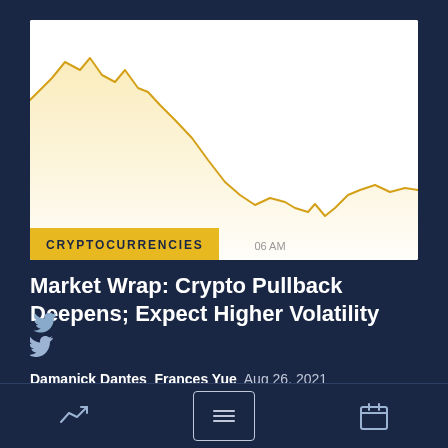[Figure (continuous-plot): Line chart showing a cryptocurrency price decline. The price starts high on the left, peaks near the top left, then drops steeply toward the right, settling at a lower level with minor fluctuations. The line is gold/yellow colored on a white background. An x-axis label reads '06 AM'. The chart area is filled with a light golden gradient below the line.]
CRYPTOCURRENCIES
Market Wrap: Crypto Pullback Deepens; Expect Higher Volatility
Damanick Dantes  Frances Yue  Aug 26, 2021